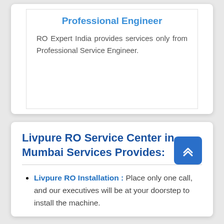Professional Engineer
RO Expert India provides services only from Professional Service Engineer.
Livpure RO Service Center in Mumbai Services Provides:
Livpure RO Installation : Place only one call, and our executives will be at your doorstep to install the machine.